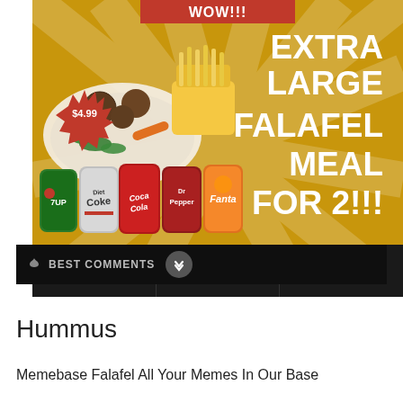[Figure (screenshot): Screenshot of a social media post showing a restaurant advertisement for an Extra Large Falafel Meal For 2 priced at $4.99, with images of falafel, fries, and soda cans (7UP, Diet Coke, Coca-Cola, Dr Pepper, Fanta). The post shows 21.2k upvotes, 305 comments, and a Share button. Below is a Best Comments section. Watermark reads @HummusMem3s.]
Hummus
Memebase Falafel All Your Memes In Our Base